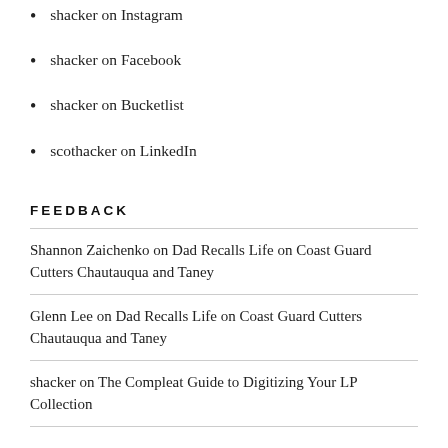shacker on Instagram
shacker on Facebook
shacker on Bucketlist
scothacker on LinkedIn
FEEDBACK
Shannon Zaichenko on Dad Recalls Life on Coast Guard Cutters Chautauqua and Taney
Glenn Lee on Dad Recalls Life on Coast Guard Cutters Chautauqua and Taney
shacker on The Compleat Guide to Digitizing Your LP Collection